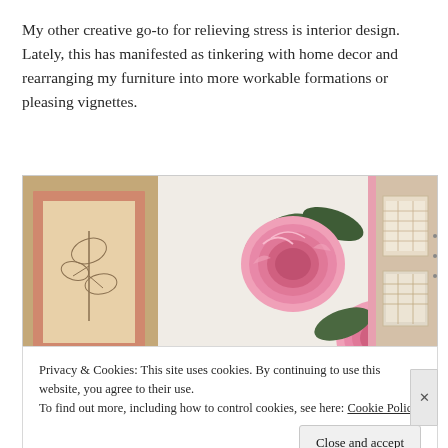My other creative go-to for relieving stress is interior design. Lately, this has manifested as tinkering with home decor and rearranging my furniture into more workable formations or pleasing vignettes.
[Figure (photo): Interior room photo showing a pink-framed artwork on the left wall, large peony/rose flower decals on the white wall in the center, and storage shelves/baskets on the right.]
Privacy & Cookies: This site uses cookies. By continuing to use this website, you agree to their use.
To find out more, including how to control cookies, see here: Cookie Policy
Close and accept